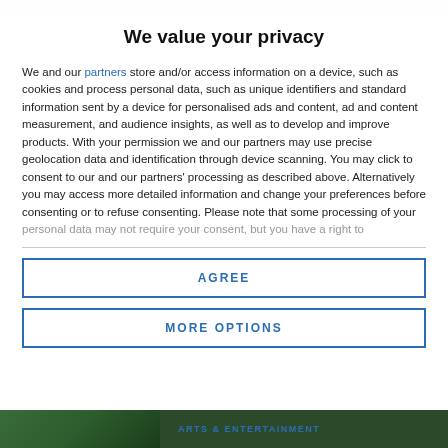[Figure (screenshot): Partial blurred header image visible at top of page]
We value your privacy
We and our partners store and/or access information on a device, such as cookies and process personal data, such as unique identifiers and standard information sent by a device for personalised ads and content, ad and content measurement, and audience insights, as well as to develop and improve products. With your permission we and our partners may use precise geolocation data and identification through device scanning. You may click to consent to our and our partners' processing as described above. Alternatively you may access more detailed information and change your preferences before consenting or to refuse consenting. Please note that some processing of your personal data may not require your consent, but you have a right to
AGREE
MORE OPTIONS
ARTS & ENTERTAINMENT